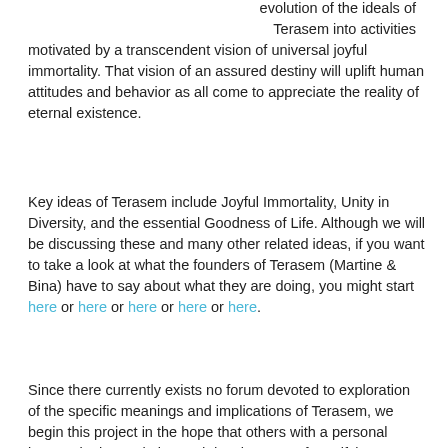evolution of the ideals of Terasem into activities motivated by a transcendent vision of universal joyful immortality. That vision of an assured destiny will uplift human attitudes and behavior as all come to appreciate the reality of eternal existence.
Key ideas of Terasem include Joyful Immortality, Unity in Diversity, and the essential Goodness of Life. Although we will be discussing these and many other related ideas, if you want to take a look at what the founders of Terasem (Martine & Bina) have to say about what they are doing, you might start here or here or here or here or here.
Since there currently exists no forum devoted to exploration of the specific meanings and implications of Terasem, we begin this project in the hope that others with a personal interest in the evolution and development of a unifying transreligion will share this material with their audiences, so that we can all work towards a broadly distributed multi-person understanding of these emergent concepts.
For an introduction to Martine Rothblatt and her decade-long adventure with Terasem, you may wish to view her recent public